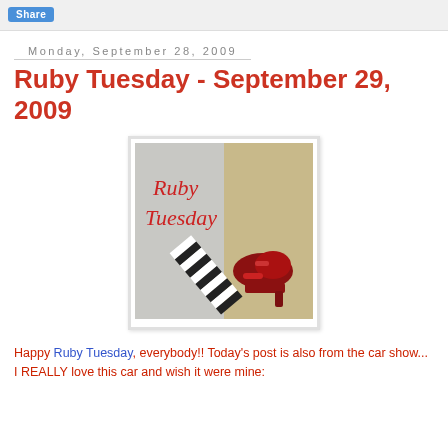Share
Monday, September 28, 2009
Ruby Tuesday - September 29, 2009
[Figure (photo): Ruby Tuesday blog logo image showing a witch leg with black and white striped stocking and a ruby red shoe, with text 'Ruby Tuesday' on a grey background]
Happy Ruby Tuesday, everybody!! Today's post is also from the car show... I REALLY love this car and wish it were mine: